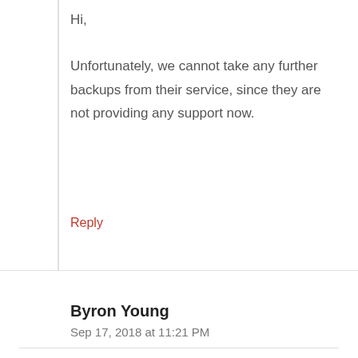Hi,

Unfortunately, we cannot take any further backups from their service, since they are not providing any support now.
Reply
Byron Young
Sep 17, 2018 at 11:21 PM